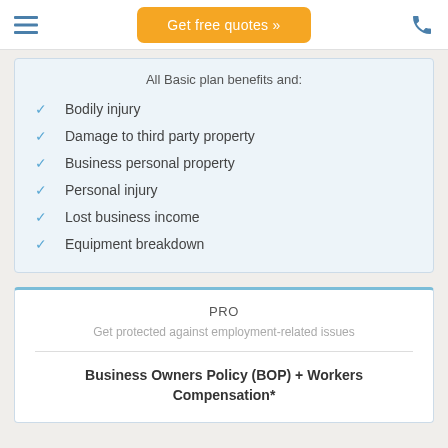Get free quotes »
All Basic plan benefits and:
Bodily injury
Damage to third party property
Business personal property
Personal injury
Lost business income
Equipment breakdown
PRO
Get protected against employment-related issues
Business Owners Policy (BOP) + Workers Compensation*